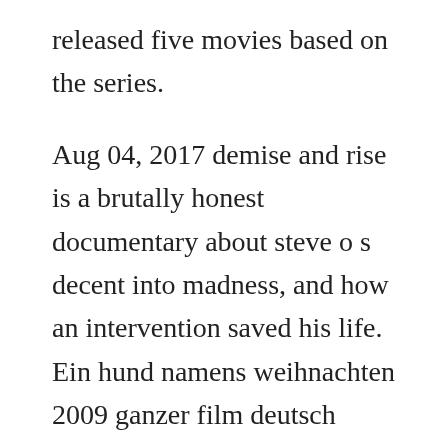released five movies based on the series.
Aug 04, 2017 demise and rise is a brutally honest documentary about steve o s decent into madness, and how an intervention saved his life. Ein hund namens weihnachten 2009 ganzer film deutsch stream. Demise and rise 2009 05062009 us documentary 42m user. The show featured homemade video footage of steve o using drugs and vandalizing his apartment. Star runners 2009 ganzer film deutsch stream german. We dont encode or broadcast any hd signals, we dont provide the